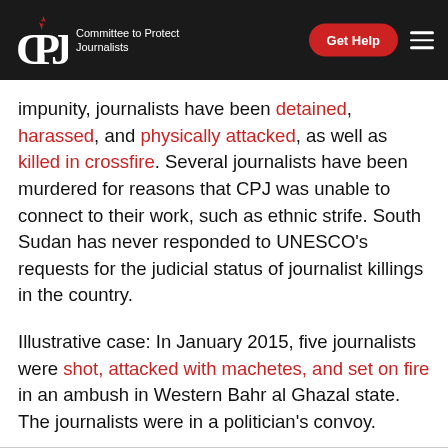CPJ — Committee to Protect Journalists | Get Help
impunity, journalists have been detained, harassed, and physically attacked, as well as killed in crossfire. Several journalists have been murdered for reasons that CPJ was unable to connect to their work, such as ethnic strife. South Sudan has never responded to UNESCO's requests for the judicial status of journalist killings in the country.
Illustrative case: In January 2015, five journalists were shot, attacked with machetes, and set on fire in an ambush in Western Bahr al Ghazal state. The journalists were in a politician's convoy.